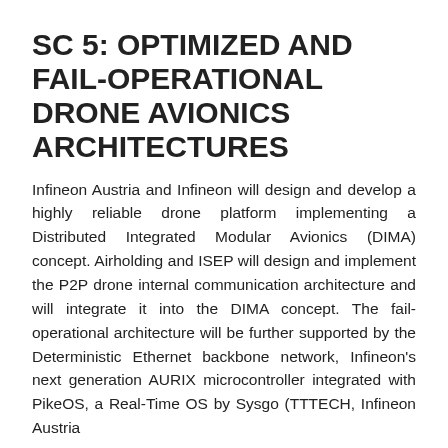SC 5: OPTIMIZED AND FAIL-OPERATIONAL DRONE AVIONICS ARCHITECTURES
Infineon Austria and Infineon will design and develop a highly reliable drone platform implementing a Distributed Integrated Modular Avionics (DIMA) concept. Airholding and ISEP will design and implement the P2P drone internal communication architecture and will integrate it into the DIMA concept. The fail-operational architecture will be further supported by the Deterministic Ethernet backbone network, Infineon's next generation AURIX microcontroller integrated with PikeOS, a Real-Time OS by Sysgo (TTTECH, Infineon Austria